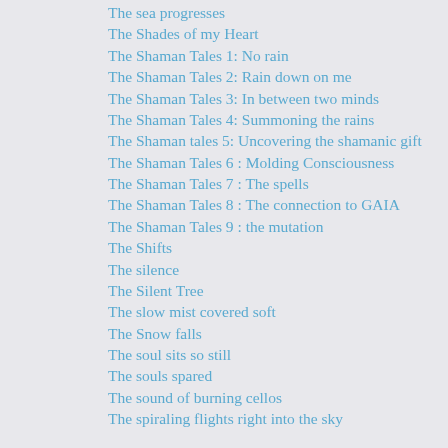The sea progresses
The Shades of my Heart
The Shaman Tales 1: No rain
The Shaman Tales 2: Rain down on me
The Shaman Tales 3: In between two minds
The Shaman Tales 4: Summoning the rains
The Shaman tales 5: Uncovering the shamanic gift
The Shaman Tales 6 : Molding Consciousness
The Shaman Tales 7 : The spells
The Shaman Tales 8 : The connection to GAIA
The Shaman Tales 9 : the mutation
The Shifts
The silence
The Silent Tree
The slow mist covered soft
The Snow falls
The soul sits so still
The souls spared
The sound of burning cellos
The spiraling flights right into the sky